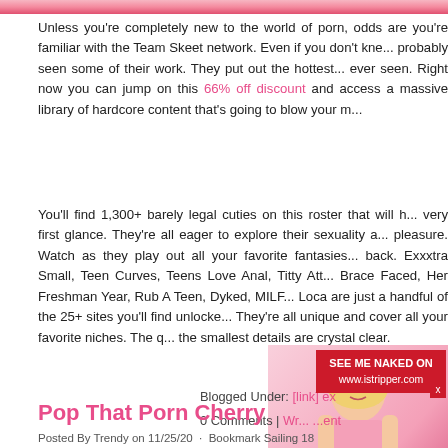Unless you're completely new to the world of porn, odds are you're familiar with the Team Skeet network. Even if you don't know, you've probably seen some of their work. They put out the hottest content you've ever seen. Right now you can jump on this 66% off discount and access a massive library of hardcore content that's going to blow your mind.
You'll find 1,300+ barely legal cuties on this roster that will hook you at very first glance. They're all eager to explore their sexuality and find pleasure. Watch as they play out all your favorite fantasies holding nothing back. Exxxtra Small, Teen Curves, Teens Love Anal, Titty Attack, Brace Faced, Her Freshman Year, Rub A Teen, Dyked, MILF, and Loca are just a handful of the 25+ sites you'll find unlocked here. They're all unique and cover all your favorite niches. The quality even the smallest details are crystal clear.
[Figure (photo): Blonde model in pink lingerie]
Blogged Under: [link] sex
0 Comments | Write a Comment
Pop That Porn Cherry
Posted By Trendy on 11/25/20 - Bookmark Sailing 18